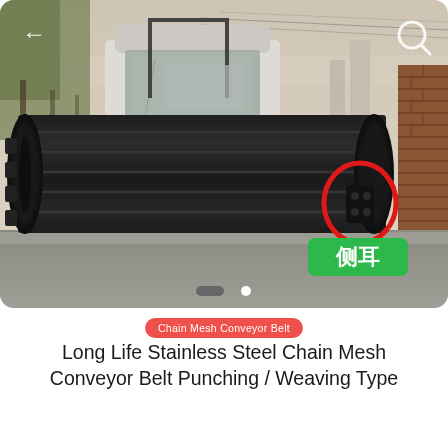[Figure (photo): Photo of a large black stainless steel chain mesh conveyor belt loaded on the back of a truck, with a red circle annotation highlighting a side bracket/ear component and a green label reading 侧耳 (side ear). Trees and brick wall visible in background. Back arrow and search icon UI overlays present. Pagination dots at bottom of image area.]
Chain Mesh Conveyor Belt
Long Life Stainless Steel Chain Mesh Conveyor Belt Punching / Weaving Type